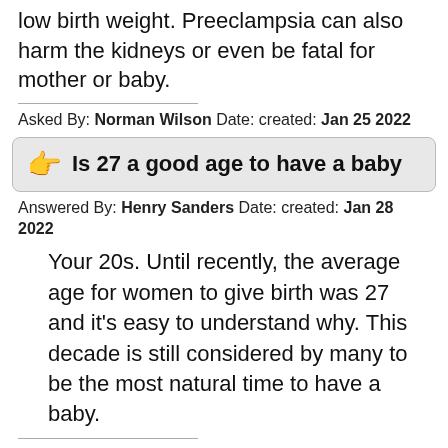low birth weight. Preeclampsia can also harm the kidneys or even be fatal for mother or baby.
Asked By: Norman Wilson Date: created: Jan 25 2022
Is 27 a good age to have a baby
Answered By: Henry Sanders Date: created: Jan 28 2022
Your 20s. Until recently, the average age for women to give birth was 27 and it's easy to understand why. This decade is still considered by many to be the most natural time to have a baby.
Asked By: Connor Gonzalez Date: created: Jul 28 2022
What age is best to get married